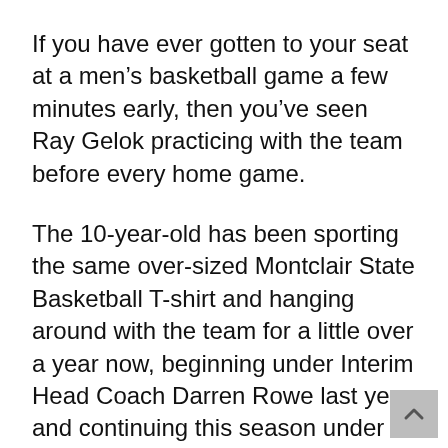If you have ever gotten to your seat at a men's basketball game a few minutes early, then you've seen Ray Gelok practicing with the team before every home game.
The 10-year-old has been sporting the same over-sized Montclair State Basketball T-shirt and hanging around with the team for a little over a year now, beginning under Interim Head Coach Darren Rowe last year and continuing this season under new Head Coach Marlon Sears.
The Clifton native has really made himself an honorary member of the team. Before the